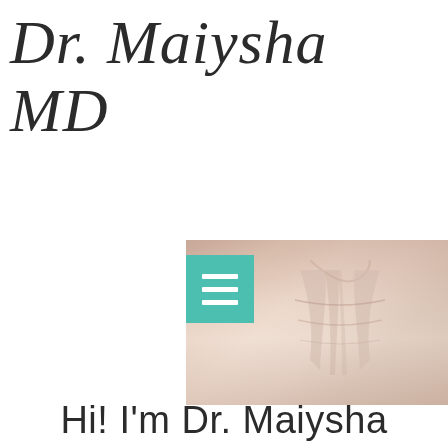Dr. Maiysha MD
[Figure (photo): A person wearing a light pink/blush sleeveless top, showing torso area. A teal hamburger menu icon overlay is visible in the upper-left of the photo.]
Hi! I'm Dr. Maiysha